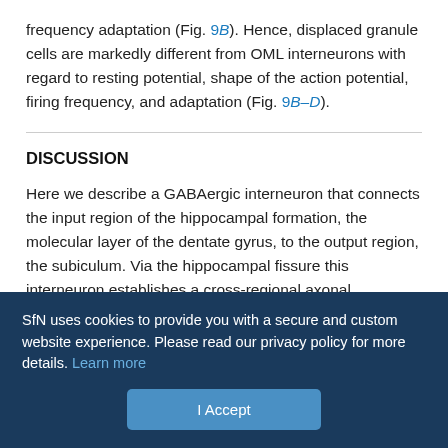frequency adaptation (Fig. 9B). Hence, displaced granule cells are markedly different from OML interneurons with regard to resting potential, shape of the action potential, firing frequency, and adaptation (Fig. 9B–D).
DISCUSSION
Here we describe a GABAergic interneuron that connects the input region of the hippocampal formation, the molecular layer of the dentate gyrus, to the output region, the subiculum. Via the hippocampal fissure this interneuron establishes a cross-regional axonal projection that is forward-directed, relative to the information flow in the trisynaptic pathway of the hippocampus.
SfN uses cookies to provide you with a secure and custom website experience. Please read our privacy policy for more details. Learn more